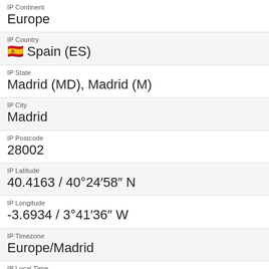IP Continent
Europe
IP Country
🇪🇸 Spain (ES)
IP State
Madrid (MD), Madrid (M)
IP City
Madrid
IP Postcode
28002
IP Latitude
40.4163 / 40°24′58″ N
IP Longitude
-3.6934 / 3°41′36″ W
IP Timezone
Europe/Madrid
IP Local Time
Wed, 24 Aug 2022 12:27:00 +0200